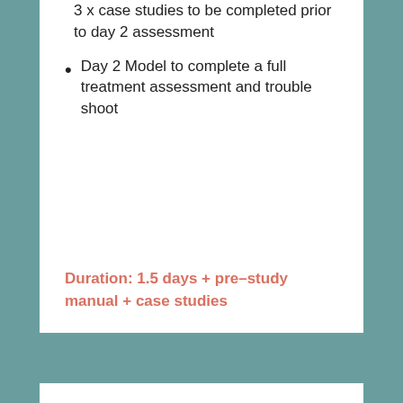3 x case studies to be completed prior to day 2 assessment
Day 2 Model to complete a full treatment assessment and trouble shoot
Duration: 1.5 days + pre–study manual + case studies